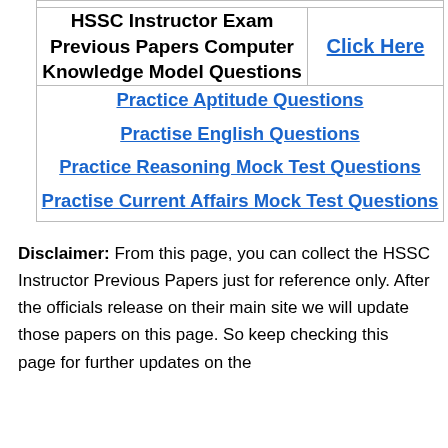| HSSC Instructor Exam Previous Papers Computer Knowledge Model Questions | Click Here |
| Practice Aptitude Questions
Practise English Questions
Practice Reasoning Mock Test Questions
Practise Current Affairs Mock Test Questions |  |
Disclaimer: From this page, you can collect the HSSC Instructor Previous Papers just for reference only. After the officials release on their main site we will update those papers on this page. So keep checking this page for further updates on the